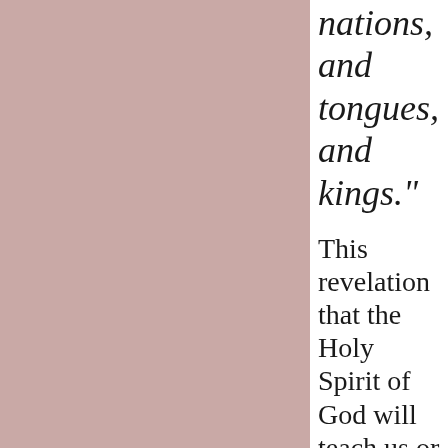nations, and tongues, and kings."
This revelation that the Holy Spirit of God will teach us or is teaching to us in the